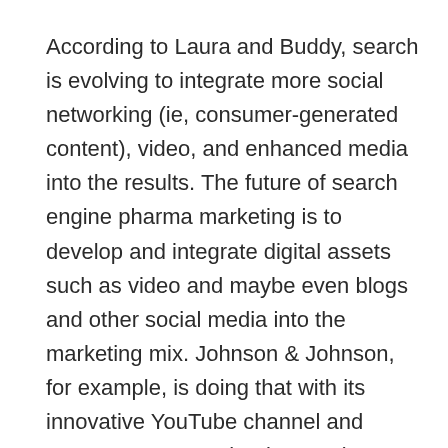According to Laura and Buddy, search is evolving to integrate more social networking (ie, consumer-generated content), video, and enhanced media into the results. The future of search engine pharma marketing is to develop and integrate digital assets such as video and maybe even blogs and other social media into the marketing mix. Johnson & Johnson, for example, is doing that with its innovative YouTube channel and ADHD Moms Facebook page (see “J&J, Debbie Phelps, You, Me, Facebook: Is This Social Networking?”).
Regardless of whether you believe what J&J is doing is social marketing or not, clearly their strategy is to